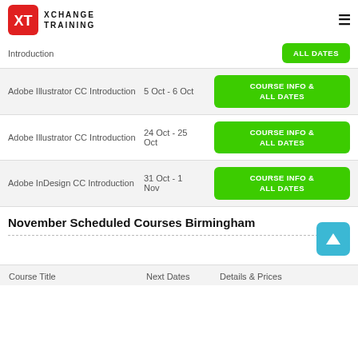XCHANGE TRAINING
Introduction — ALL DATES
Adobe Illustrator CC Introduction — 5 Oct - 6 Oct — COURSE INFO & ALL DATES
Adobe Illustrator CC Introduction — 24 Oct - 25 Oct — COURSE INFO & ALL DATES
Adobe InDesign CC Introduction — 31 Oct - 1 Nov — COURSE INFO & ALL DATES
November Scheduled Courses Birmingham
| Course Title | Next Dates | Details & Prices |
| --- | --- | --- |